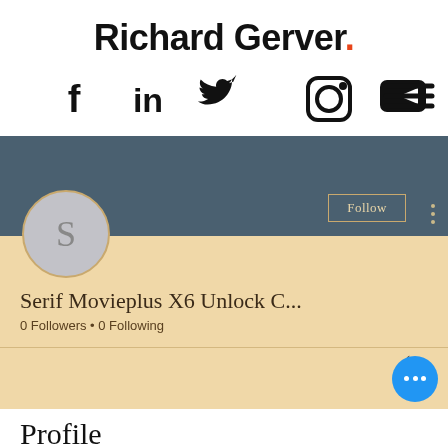Richard Gerver.
[Figure (infographic): Social media navigation icons: Facebook, LinkedIn, Twitter, Instagram, YouTube, and hamburger menu]
[Figure (screenshot): User profile card with slate-blue banner, avatar circle with letter S, Follow button, three-dot menu, username 'Serif Movieplus X6 Unlock C...', '0 Followers • 0 Following' stats, and a blue floating chat button. Below is a 'Profile' section heading.]